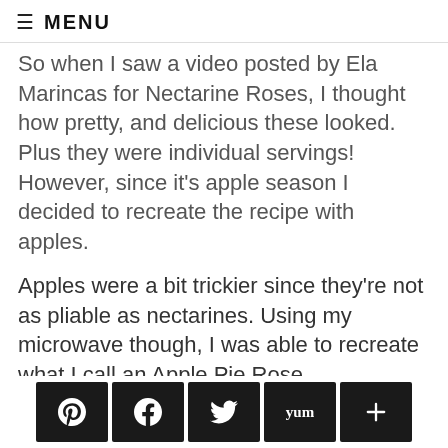≡ MENU
So when I saw a video posted by Ela Marincas for Nectarine Roses, I thought how pretty, and delicious these looked.  Plus they were individual servings!  However, since it's apple season I decided to recreate the recipe with apples.
Apples were a bit trickier since they're not as pliable as nectarines. Using my microwave though, I was able to recreate what I call an Apple Pie Rose.
I used the same premise of creating the puff pastry roses, but instead of using just cinnamon
[Figure (other): Social sharing bar with Pinterest, Facebook, Twitter, Yummly, and plus buttons]